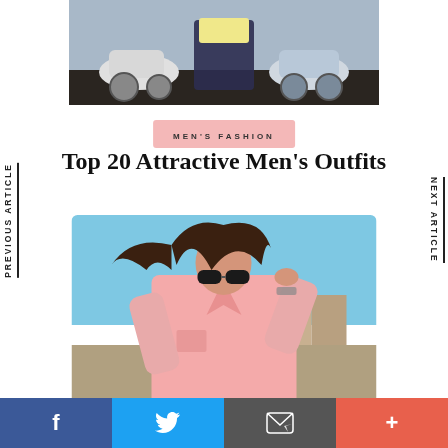[Figure (photo): Cropped top photo showing a person on a moped/scooter on a street scene]
MEN'S FASHION
Top 20 Attractive Men's Outfits
[Figure (photo): Woman in a pink shirt with sunglasses, hair blowing in the wind, blue sky background with buildings]
Facebook | Twitter | Email | Plus social share bar